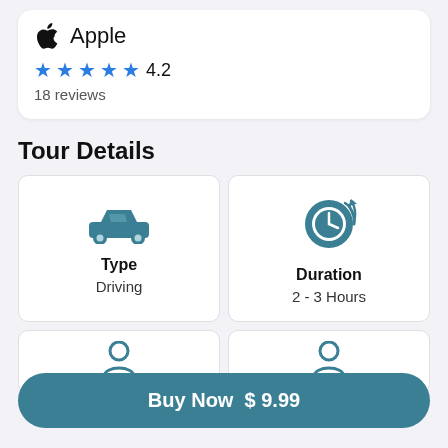[Figure (logo): Apple logo icon with 'Apple' text beside it]
★★★★★ 4.2
18 reviews
Tour Details
[Figure (illustration): Blue car icon representing Driving type]
Type
Driving
[Figure (illustration): Blue clock/timer icon representing Duration]
Duration
2 - 3 Hours
Buy Now $ 9.99